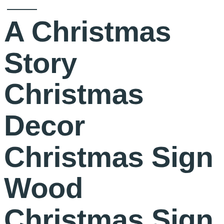A Christmas Story Christmas Decor Christmas Sign Wood Christmas Sign It's A Major Award! Vertical Sign Fragile Leg Lamp Fra-Gee-Lay